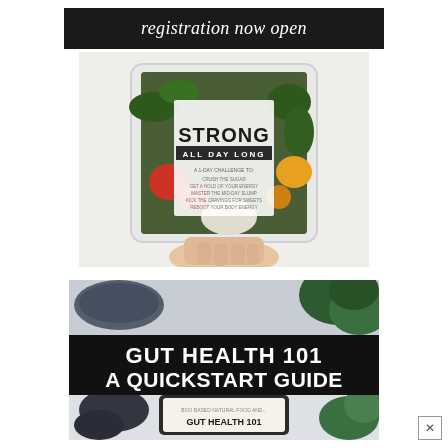registration now open
[Figure (illustration): Hand holding a tablet displaying 'STRONG ALL DAY LONG' ebook cover with vegetables background. Cover shows text: STRONG ALL DAY LONG, A 1-Day Challenge To: Crush The Sugar, Get A Hold Of Your Energy, Master The Mid-Day Slump, Kick The Cravings For Sweets, Reboot Your Body Energy]
[Figure (illustration): Gut Health 101 A Quickstart Guide book cover displayed on a tablet with food items in background. Bold white text on black bar reads: GUT HEALTH 101 A QUICKSTART GUIDE. Below shows a tablet with GUT HEALTH 101 text.]